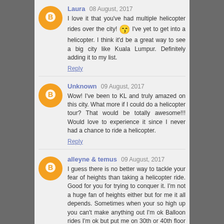Laura 08 August, 2017
I love it that you've had multiple helicopter rides over the city! 😙 I've yet to get into a helicopter. I think it'd be a great way to see a big city like Kuala Lumpur. Definitely adding it to my list.
Reply
Unknown 09 August, 2017
Wow! I've been to KL and truly amazed on this city. What more if I could do a helicopter tour? That would be totally awesome!!! Would love to experience it since I never had a chance to ride a helicopter.
Reply
alleyne & temus 09 August, 2017
I guess there is no better way to tackle your fear of heights than taking a helicopter ride. Good for you for trying to conquer it. I'm not a huge fan of heights either but for me it all depends. Sometimes when your so high up you can't make anything out I'm ok Balloon rides I'm ok but put me on 30th or 40th floor looking down I don't like that too much...lol looking out is better than looking down....or buy a drone like I did and avoid height all together...lol
Reply
Unknown 10 August, 2017
Helicopter tours are amazing, but I'm so scared of height and won't be able to do this :(